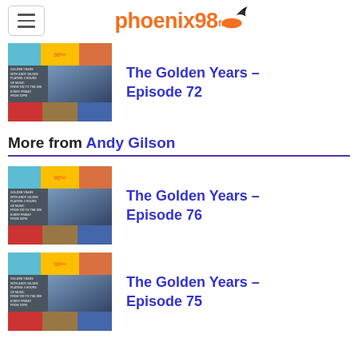phoenix98fm
[Figure (photo): Thumbnail image for The Golden Years Episode 72 showing a collage of 80s musicians with Golden Years radio show branding on yellow background]
The Golden Years – Episode 72
More from Andy Gilson
[Figure (photo): Thumbnail image for The Golden Years Episode 76 showing a collage of 80s musicians with Golden Years radio show branding on yellow background]
The Golden Years – Episode 76
[Figure (photo): Thumbnail image for The Golden Years Episode 75 showing a collage of 80s musicians with Golden Years radio show branding on yellow background]
The Golden Years – Episode 75